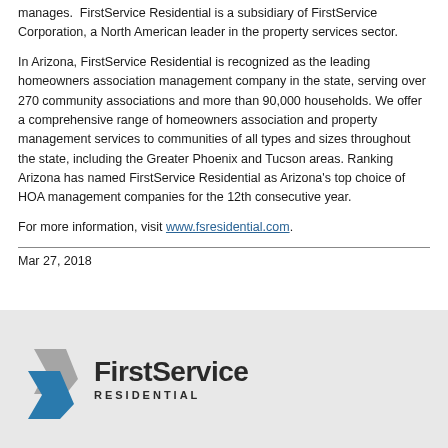manages.  FirstService Residential is a subsidiary of FirstService Corporation, a North American leader in the property services sector.
In Arizona, FirstService Residential is recognized as the leading homeowners association management company in the state, serving over 270 community associations and more than 90,000 households. We offer a comprehensive range of homeowners association and property management services to communities of all types and sizes throughout the state, including the Greater Phoenix and Tucson areas. Ranking Arizona has named FirstService Residential as Arizona's top choice of HOA management companies for the 12th consecutive year.
For more information, visit www.fsresidential.com.
Mar 27, 2018
[Figure (logo): FirstService Residential logo with arrow/chevron icon in blue and gray, company name in bold dark text, and RESIDENTIAL in spaced capital letters below]